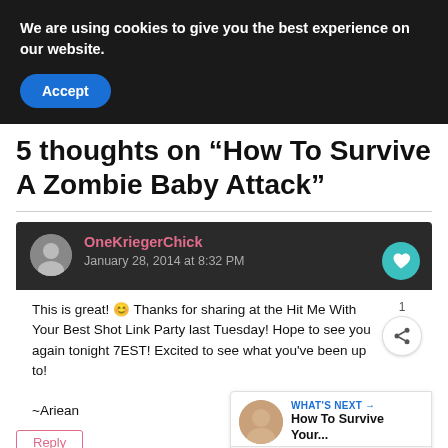We are using cookies to give you the best experience on our website.
Accept
5 thoughts on “How To Survive A Zombie Baby Attack”
OneKriegerChick
January 28, 2014 at 8:32 PM
This is great! 😊 Thanks for sharing at the Hit Me With Your Best Shot Link Party last Tuesday! Hope to see you again tonight 7EST! Excited to see what you've been up to!

~Ariean
Reply
WHAT'S NEXT →
How To Survive Your...
Privacy · Terms